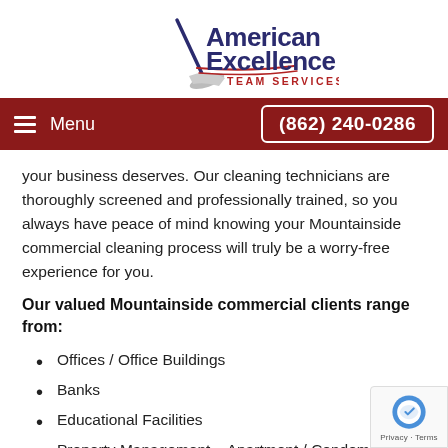[Figure (logo): American Excellence Team Services logo with broom graphic and red/blue text]
Menu   (862) 240-0286
your business deserves. Our cleaning technicians are thoroughly screened and professionally trained, so you always have peace of mind knowing your Mountainside commercial cleaning process will truly be a worry-free experience for you.
Our valued Mountainside commercial clients range from:
Offices / Office Buildings
Banks
Educational Facilities
Property Management – Apartment / Condominium